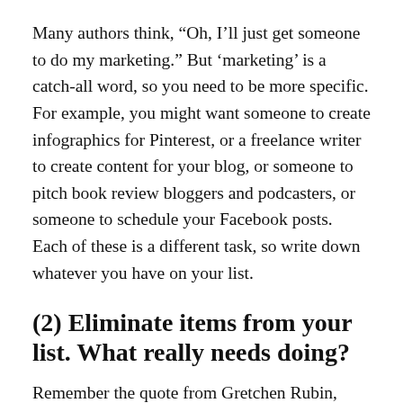Many authors think, “Oh, I’ll just get someone to do my marketing.” But ‘marketing’ is a catch-all word, so you need to be more specific. For example, you might want someone to create infographics for Pinterest, or a freelance writer to create content for your blog, or someone to pitch book review bloggers and podcasters, or someone to schedule your Facebook posts. Each of these is a different task, so write down whatever you have on your list.
(2) Eliminate items from your list. What really needs doing?
Remember the quote from Gretchen Rubin, “The big is composed of innocuous-sounding ll...